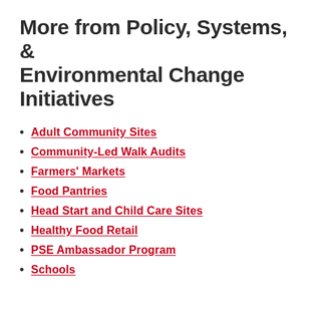More from Policy, Systems, & Environmental Change Initiatives
Adult Community Sites
Community-Led Walk Audits
Farmers' Markets
Food Pantries
Head Start and Child Care Sites
Healthy Food Retail
PSE Ambassador Program
Schools